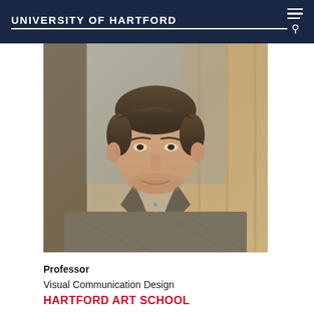UNIVERSITY OF HARTFORD
[Figure (photo): Professional headshot of a middle-aged man with brown hair, wearing a grey tweed blazer and light blue button-up shirt, smiling slightly, photographed in front of a warm blurred background.]
Professor
Visual Communication Design
HARTFORD ART SCHOOL